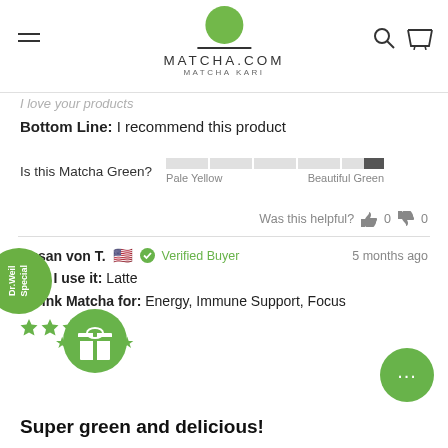[Figure (logo): Matcha.com Matcha Kari logo with green circle above text]
I love your products
Bottom Line: I recommend this product
Is this Matcha Green?   Pale Yellow   Beautiful Green
Was this helpful?  0  0
Susan von T.  Verified Buyer   5 months ago
How I use it: Latte
I drink Matcha for: Energy, Immune Support, Focus
Super green and delicious!